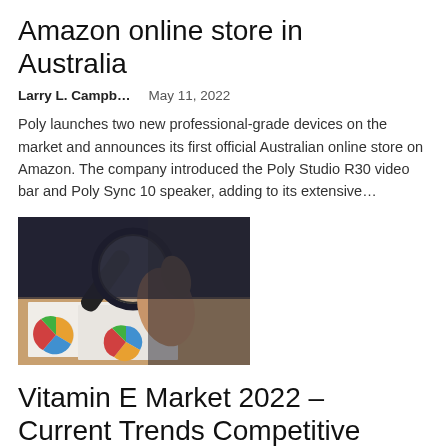Amazon online store in Australia
Larry L. Campb…    May 11, 2022
Poly launches two new professional-grade devices on the market and announces its first official Australian online store on Amazon. The company introduced the Poly Studio R30 video bar and Poly Sync 10 speaker, adding to its extensive…
[Figure (photo): Person holding a magnifying glass over financial charts and pie charts on a desk]
Vitamin E Market 2022 – Current Trends Competitive